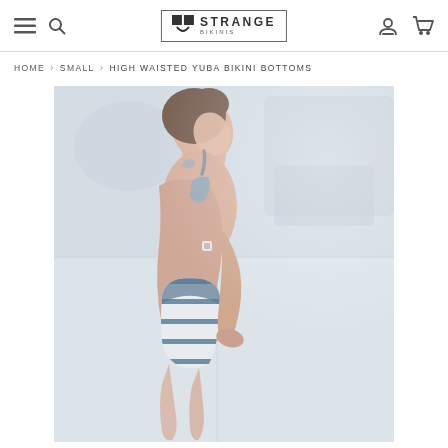Strange Bikinis — navigation bar with menu, search, logo, account and cart icons
HOME > SMALL > HIGH WAISTED YUBA BIKINI BOTTOMS
[Figure (photo): Model wearing high waisted striped bikini bottoms and a halter top, photographed from the side in a bright outdoor setting. The image is divided by a subtle grid line.]